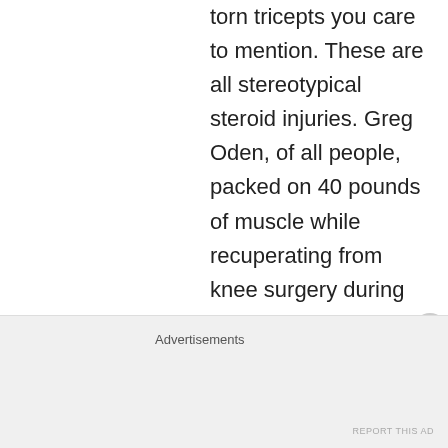torn tricepts you care to mention. These are all stereotypical steroid injuries. Greg Oden, of all people, packed on 40 pounds of muscle while recuperating from knee surgery during his rookie year. It takes a willful effort to bury your head in the sand not to realize the likely
Advertisements
REPORT THIS AD